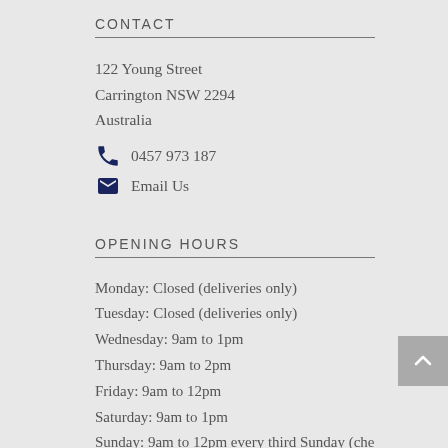CONTACT
122 Young Street
Carrington NSW 2294
Australia
0457 973 187
Email Us
OPENING HOURS
Monday: Closed (deliveries only)
Tuesday: Closed (deliveries only)
Wednesday: 9am to 1pm
Thursday: 9am to 2pm
Friday: 9am to 12pm
Saturday: 9am to 1pm
Sunday: 9am to 12pm every third Sunday (che
social media for details xo)